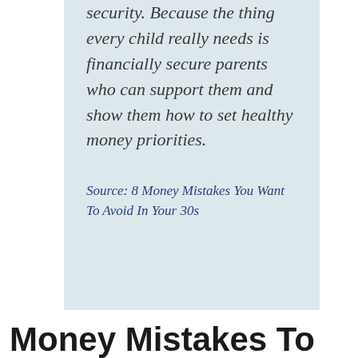security. Because the thing every child really needs is financially secure parents who can support them and show them how to set healthy money priorities.
Source: 8 Money Mistakes You Want To Avoid In Your 30s
Money Mistakes To